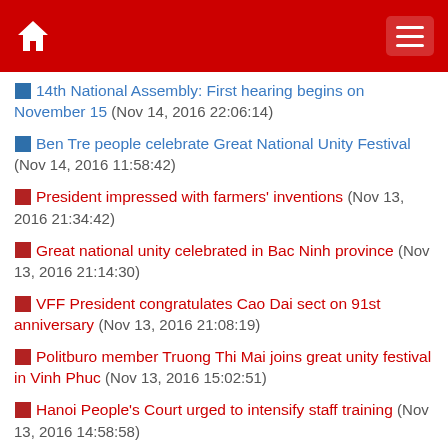Navigation header with home and menu icons
14th National Assembly: First hearing begins on November 15 (Nov 14, 2016 22:06:14)
Ben Tre people celebrate Great National Unity Festival (Nov 14, 2016 11:58:42)
President impressed with farmers' inventions (Nov 13, 2016 21:34:42)
Great national unity celebrated in Bac Ninh province (Nov 13, 2016 21:14:30)
VFF President congratulates Cao Dai sect on 91st anniversary (Nov 13, 2016 21:08:19)
Politburo member Truong Thi Mai joins great unity festival in Vinh Phuc (Nov 13, 2016 15:02:51)
Hanoi People's Court urged to intensify staff training (Nov 13, 2016 14:58:58)
PM calls for contributions from OVs to Ho Chi Minh City's development (Nov 13, 2016 14:36:11)